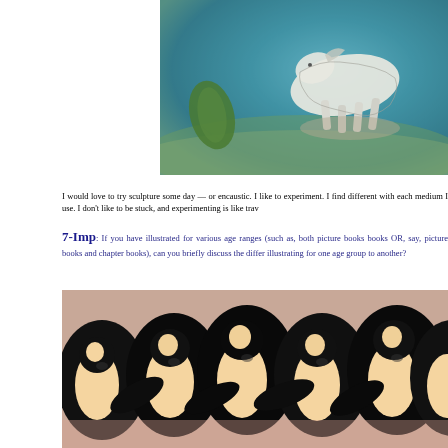[Figure (illustration): Painting of a white horse or goat on a teal/blue textured background with a green leaf shape on the left side]
I would love to try sculpture some day — or encaustic. I like to experiment. I find different with each medium I use. I don't like to be stuck, and experimenting is like trav
7-Imp: If you have illustrated for various age ranges (such as, both picture books books OR, say, picture books and chapter books), can you briefly discuss the diffe illustrating for one age group to another?
[Figure (illustration): Close-up painting of multiple penguins with black and white coloring and orange/peach faces, tightly packed together]